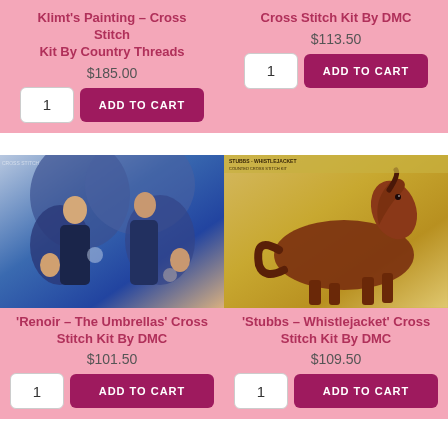Klimt's Painting – Cross Stitch Kit By Country Threads
$185.00
Cross Stitch Kit By DMC
$113.50
[Figure (photo): Cross stitch kit photo showing Renoir's The Umbrellas painting rendered in cross stitch, figures in blue tones]
'Renoir – The Umbrellas' Cross Stitch Kit By DMC
$101.50
[Figure (photo): Cross stitch kit photo showing Stubbs Whistlejacket horse painting on canvas background]
'Stubbs – Whistlejacket' Cross Stitch Kit By DMC
$109.50